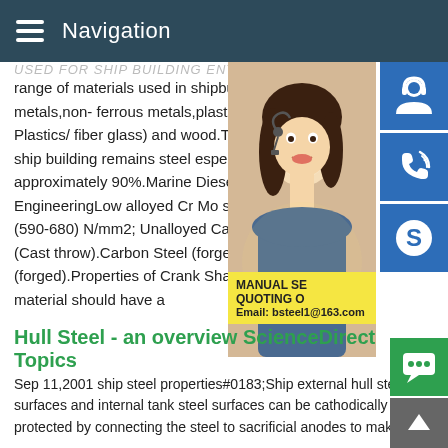Navigation
USED FOR SHIP BUILDING ENTERPRISE — range of materials used in shipbuilding co... metals,non- ferrous metals,plastics,GRP (... Plastics/ fiber glass) and wood.The most w... ship building remains steel especially plan... approximately 90%.Marine Diesel Engines EngineeringLow alloyed Cr Mo steel which (590-680) N/mm2; Unalloyed Carbon Stee... (Cast throw).Carbon Steel (forged or cast)... (forged).Properties of Crank Shaft materia... material should have a
[Figure (photo): Photo of a woman wearing a headset (customer service representative) with blue icon buttons for customer support, phone, and Skype on the right side, and a yellow promotional banner with text 'MANUAL SE... QUOTING O... Email: bsteel1@163.com']
Hull Steel - an overview ScienceDirect Topics
Sep 11,2001 ship steel properties#0183;Ship external hull ste... surfaces and internal tank steel surfaces can be cathodically protected by connecting the steel to sacrificial anodes to make... steel performance article than 0.300U (CRC) C...